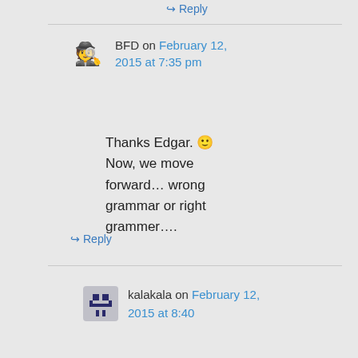↪ Reply
BFD on February 12, 2015 at 7:35 pm
Thanks Edgar. 🙂 Now, we move forward… wrong grammar or right grammer….
↪ Reply
kalakala on February 12, 2015 at 8:40